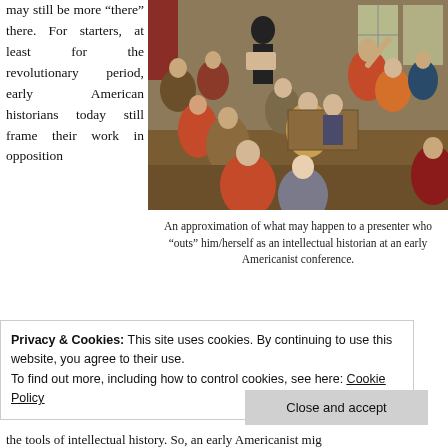may still be more “there” there. For starters, at least for the revolutionary period, early American historians today still frame their work in opposition
[Figure (illustration): A historical painting depicting what appears to be a Salem witch trial or similar colonial courtroom/religious scene with many figures in period dress, some pointing and gesturing dramatically.]
An approximation of what may happen to a presenter who “outs” him/herself as an intellectual historian at an early Americanist conference.
to the quintessential works in intellectual history like Woo
Privacy & Cookies: This site uses cookies. By continuing to use this website, you agree to their use.
To find out more, including how to control cookies, see here: Cookie Policy
Close and accept
the tools of intellectual history. So, an early Americanist mig